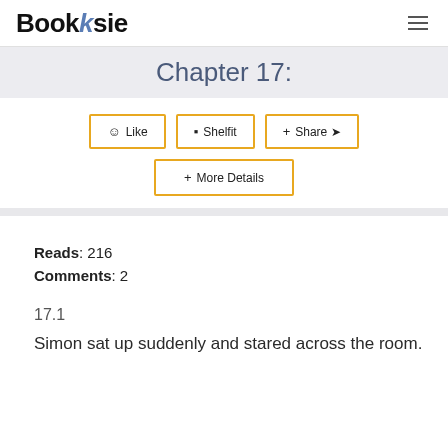Booksie
Chapter 17:
☺ Like | ▪ Shelfit | + Share ↪ | + More Details
Reads: 216
Comments: 2
17.1
Simon sat up suddenly and stared across the room.